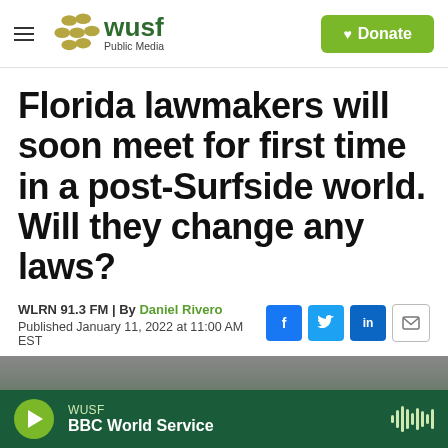[Figure (logo): WUSF Public Media logo with hamburger menu icon on the left and a green Donate button with heart icon on the right]
Florida lawmakers will soon meet for first time in a post-Surfside world. Will they change any laws?
WLRN 91.3 FM | By Daniel Rivero
Published January 11, 2022 at 11:00 AM EST
[Figure (screenshot): Social sharing icons: Facebook (blue), Twitter (blue), LinkedIn (blue), Email (white with border)]
[Figure (photo): Partial view of a building exterior, dark grey tones, partially cropped]
[Figure (infographic): WUSF audio player bar at the bottom: green play button, station label WUSF, show name BBC World Service, waveform icon on the right]